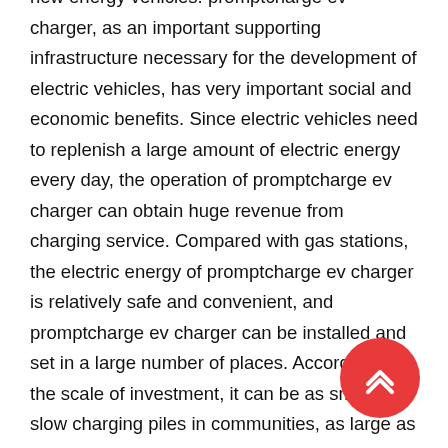new energy vehicles. promptcharge ev charger, as an important supporting infrastructure necessary for the development of electric vehicles, has very important social and economic benefits. Since electric vehicles need to replenish a large amount of electric energy every day, the operation of promptcharge ev charger can obtain huge revenue from charging service. Compared with gas stations, the electric energy of promptcharge ev charger is relatively safe and convenient, and promptcharge ev charger can be installed and set in a large number of places. According to the scale of investment, it can be as small as slow charging piles in communities, as large as fast-charging stations on highways, which can be operated by a single station or by networking. With regard to the opening of the promptcharge ev charger market, there may be more preference for service and power supply in the future that the construction of promptcharge ev charger can be more integrated with the market, and everyone will be competitors in the same market. Therefore, it is very important for enterprises
[Figure (other): Red circular floating action button with double upward chevron arrows]